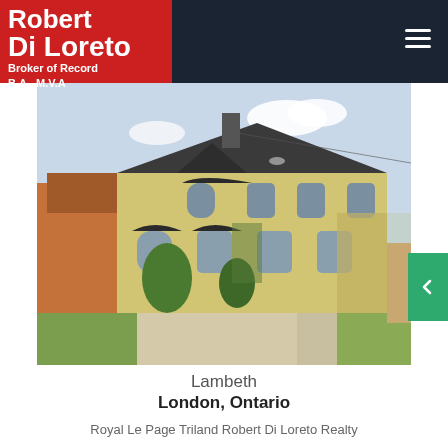Robert Di Loreto Broker of Record B.A., M.V.A
[Figure (photo): Exterior photo of a two-storey yellow stucco heritage house with black awnings, a driveway, and green lawn, located in Lambeth, London, Ontario]
Lambeth
London, Ontario
Royal Le Page Triland Robert Di Loreto Realty